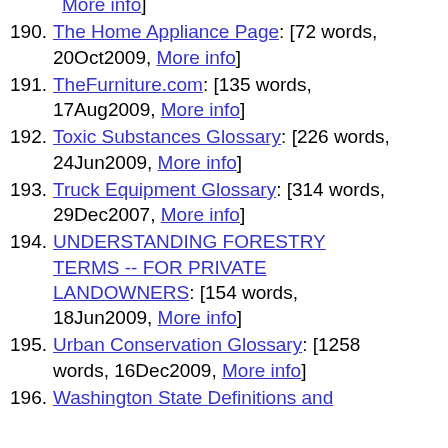More info]
190. The Home Appliance Page: [72 words, 20Oct2009, More info]
191. TheFurniture.com: [135 words, 17Aug2009, More info]
192. Toxic Substances Glossary: [226 words, 24Jun2009, More info]
193. Truck Equipment Glossary: [314 words, 29Dec2007, More info]
194. UNDERSTANDING FORESTRY TERMS -- FOR PRIVATE LANDOWNERS: [154 words, 18Jun2009, More info]
195. Urban Conservation Glossary: [1258 words, 16Dec2009, More info]
196. Washington State Definitions and